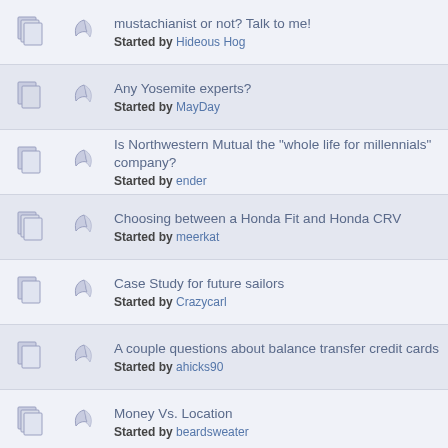Mustachianism or not? Talk to me! Started by Hideous Hog
Any Yosemite experts? Started by MayDay
Is Northwestern Mutual the "whole life for millennials" company? Started by ender
Choosing between a Honda Fit and Honda CRV Started by meerkat
Case Study for future sailors Started by Crazycarl
A couple questions about balance transfer credit cards Started by ahicks90
Money Vs. Location Started by beardsweater
Where to sell unused gift cards? Started by Dragonstrike
Bicyclists, how do I avoid flying over handlebars again? Started by bop
ACA in Texas...